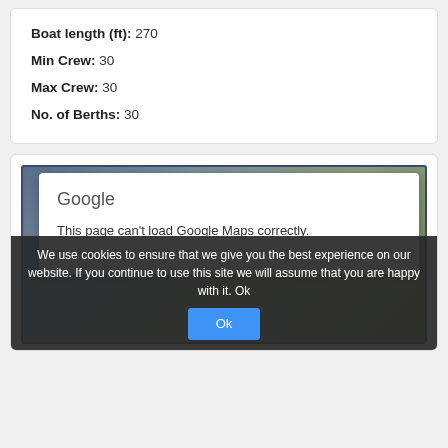Boat length (ft): 270
Min Crew: 30
Max Crew: 30
No. of Berths: 30
[Figure (screenshot): Google Maps error dialog showing 'This page can't load Google Maps correctly.' with a cookie consent bar overlay reading 'We use cookies to ensure that we give you the best experience on our website. If you continue to use this site we will assume that you are happy with it. Ok']